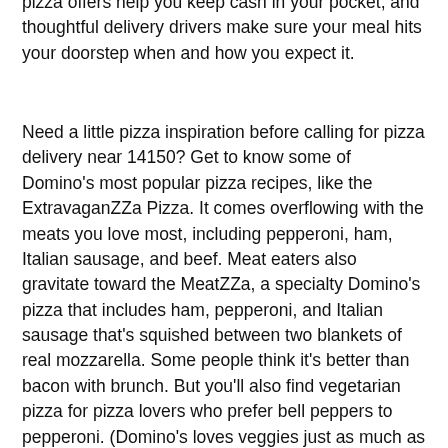pizza offers help you keep cash in your pocket, and thoughtful delivery drivers make sure your meal hits your doorstep when and how you expect it.
Need a little pizza inspiration before calling for pizza delivery near 14150? Get to know some of Domino's most popular pizza recipes, like the ExtravaganZZa Pizza. It comes overflowing with the meats you love most, including pepperoni, ham, Italian sausage, and beef. Meat eaters also gravitate toward the MeatZZa, a specialty Domino's pizza that includes ham, pepperoni, and Italian sausage that's squished between two blankets of real mozzarella. Some people think it's better than bacon with brunch. But you'll also find vegetarian pizza for pizza lovers who prefer bell peppers to pepperoni. (Domino's loves veggies just as much as meat, and they don't “carrot” who knows it!) The Pacific Veggie Pizza, for one, is jam-packed with fresh baby spinach, roasted red peppers, onions, black olives, tomatoes, and mushrooms.
Domino's can help you DIY your pie, too. There are a gazillion different ways to make a Domino's pizza and the Domino's Pizza Builder gives you ultimate control over every bite. Start designing your hot and toasty pizza by picking your go-to crust: large-sliced